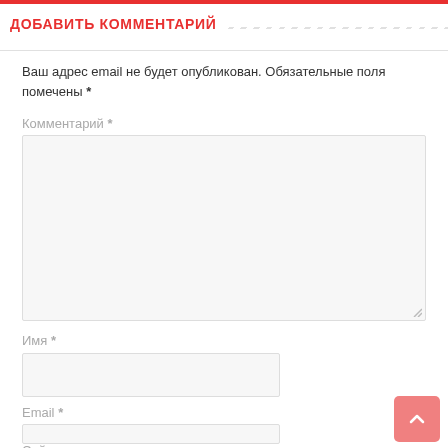ДОБАВИТЬ КОММЕНТАРИЙ
Ваш адрес email не будет опубликован. Обязательные поля помечены *
Комментарий *
[Figure (screenshot): Comment textarea input field]
Имя *
[Figure (screenshot): Name input field]
Email *
[Figure (screenshot): Email input field]
Сайт